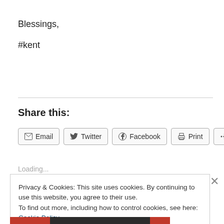Blessings,
#kent
Share this:
[Figure (screenshot): Share buttons row: Email, Twitter, Facebook, Print, More]
Loading...
Privacy & Cookies: This site uses cookies. By continuing to use this website, you agree to their use.
To find out more, including how to control cookies, see here: Cookie Policy
Close and accept